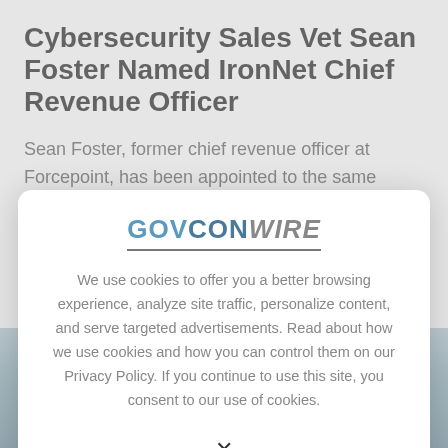Cybersecurity Sales Vet Sean Foster Named IronNet Chief Revenue Officer
Sean Foster, former chief revenue officer at Forcepoint, has been appointed to the same position at IronNet Cybersecurity...
[Figure (logo): GovConWire logo with blue and grey text and underline]
We use cookies to offer you a better browsing experience, analyze site traffic, personalize content, and serve targeted advertisements. Read about how we use cookies and how you can control them on our Privacy Policy. If you continue to use this site, you consent to our use of cookies.
X